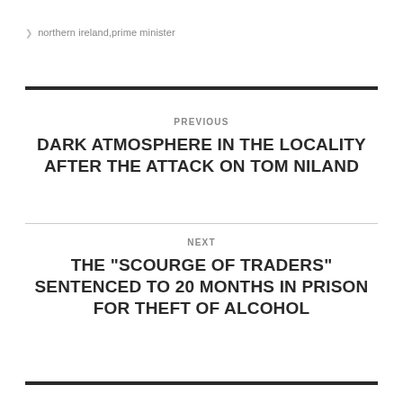❯ northern ireland,prime minister
PREVIOUS
DARK ATMOSPHERE IN THE LOCALITY AFTER THE ATTACK ON TOM NILAND
NEXT
THE "SCOURGE OF TRADERS" SENTENCED TO 20 MONTHS IN PRISON FOR THEFT OF ALCOHOL